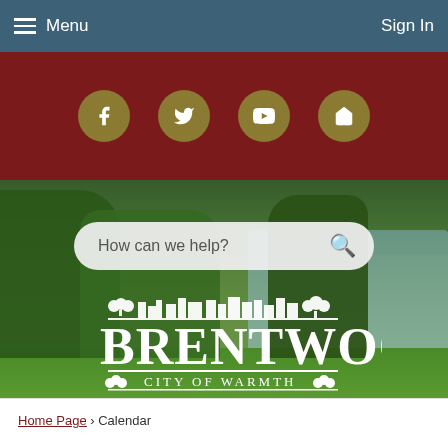Menu | Sign In
[Figure (screenshot): Social media icons bar with dark red background containing four golden circular buttons: Facebook, Twitter, YouTube, and a home/Nextdoor icon]
[Figure (photo): Hero background photo of Brentwood city landscape with green trees, blue sky, and lawn]
How can we help?
[Figure (logo): Brentwood City of Warmth official city logo in white with decorative cityscape silhouette above the text]
Home Page › Calendar